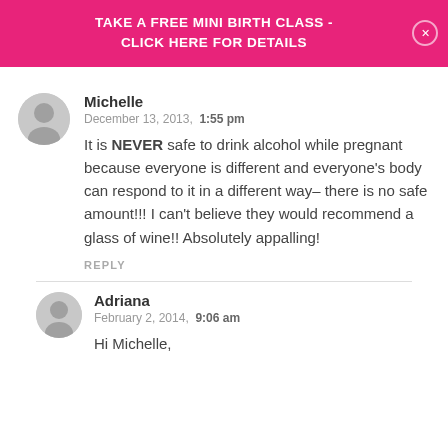TAKE A FREE MINI BIRTH CLASS - CLICK HERE FOR DETAILS
Michelle
December 13, 2013, 1:55 pm
It is NEVER safe to drink alcohol while pregnant because everyone is different and everyone's body can respond to it in a different way– there is no safe amount!!! I can't believe they would recommend a glass of wine!! Absolutely appalling!
REPLY
Adriana
February 2, 2014, 9:06 am
Hi Michelle,